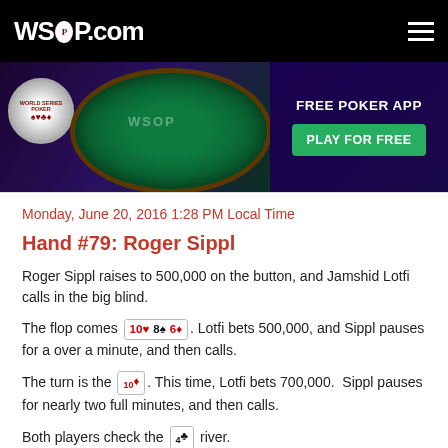WSOP.com
[Figure (photo): WSOP.com banner advertisement showing a poker table game scene on the left and 'FREE POKER APP - PLAY FOR FREE' button on the right with dark purple background]
Monday, June 20, 2016 1:28 PM Local Time
Hand #79: Roger Sippl
Roger Sippl raises to 500,000 on the button, and Jamshid Lotfi calls in the big blind.
The flop comes 10♥ 8♠ 6♦. Lotfi bets 500,000, and Sippl pauses for a over a minute, and then calls.
The turn is the 10♦. This time, Lotfi bets 700,000.  Sippl pauses for nearly two full minutes, and then calls.
Both players check the 4♣ river.